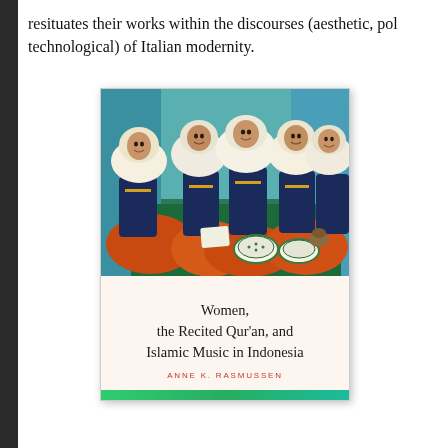resituates their works within the discourses (aesthetic, pol technological) of Italian modernity.
[Figure (photo): Book cover of 'Women, the Recited Qur'an, and Islamic Music in Indonesia' by Anne K. Rasmussen. The cover shows a photograph of several young Indonesian women wearing white hijabs and orange/red traditional costumes sitting together, smiling. Below the photo is a cream/beige title area with an arch design, displaying the book title and author name in dark and red text respectively.]